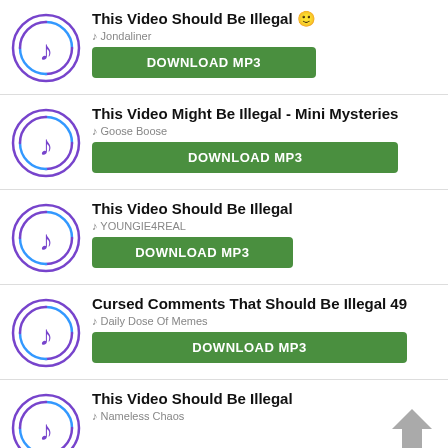This Video Should Be Illegal 🙂 — Jondaliner — DOWNLOAD MP3
This Video Might Be Illegal - Mini Mysteries — Goose Boose — DOWNLOAD MP3
This Video Should Be Illegal — YOUNGIE4REAL — DOWNLOAD MP3
Cursed Comments That Should Be Illegal 49 — Daily Dose Of Memes — DOWNLOAD MP3
This Video Should Be Illegal — Nameless Chaos